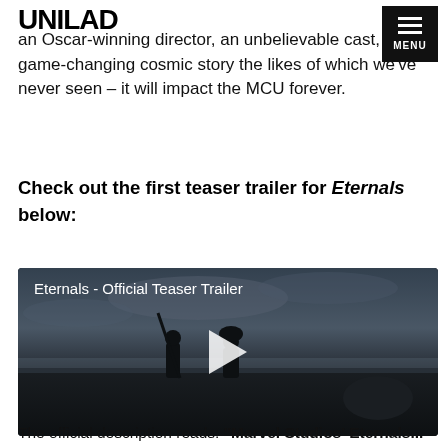UNILAD
an Oscar-winning director, an unbelievable cast, a game-changing cosmic story the likes of which we've never seen – it will impact the MCU forever.
Check out the first teaser trailer for Eternals below:
[Figure (screenshot): Video thumbnail for Eternals - Official Teaser Trailer showing silhouettes of two figures against a dark seascape/sky background with a play button overlay]
The official description reads: "Marvel Studios' Eternals...